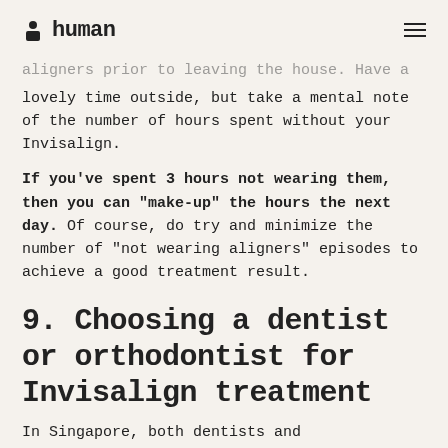human
aligners prior to leaving the house. Have a lovely time outside, but take a mental note of the number of hours spent without your Invisalign.
If you've spent 3 hours not wearing them, then you can "make-up" the hours the next day. Of course, do try and minimize the number of "not wearing aligners" episodes to achieve a good treatment result.
9. Choosing a dentist or orthodontist for Invisalign treatment
In Singapore, both dentists and orthodontists can provide Invisalign treatment. Orthodontists have